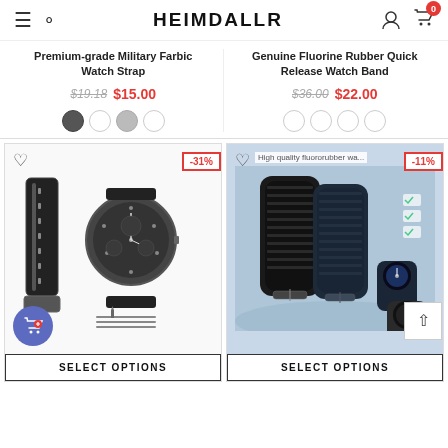HEIMDALLR
Premium-grade Military Farbic Watch Strap
$19.18  $15.00
Genuine Fluorine Rubber Quick Release Watch Band
$36.00  $22.00
[Figure (photo): Military fabric watch strap with a watch, spring bar tool kit, -31% discount badge]
SELECT OPTIONS
[Figure (photo): High quality fluororubber watch bands in black, -11% discount badge]
SELECT OPTIONS